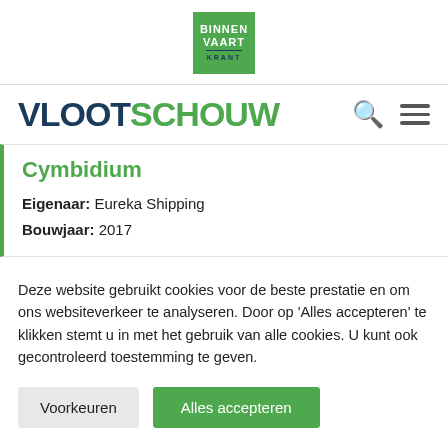BINNEN VAART KRANT logo
VLOOTSCHOUW
Cymbidium
Eigenaar: Eureka Shipping
Bouwjaar: 2017
Deze website gebruikt cookies voor de beste prestatie en om ons websiteverkeer te analyseren. Door op 'Alles accepteren' te klikken stemt u in met het gebruik van alle cookies. U kunt ook gecontroleerd toestemming te geven.
Voorkeuren
Alles accepteren